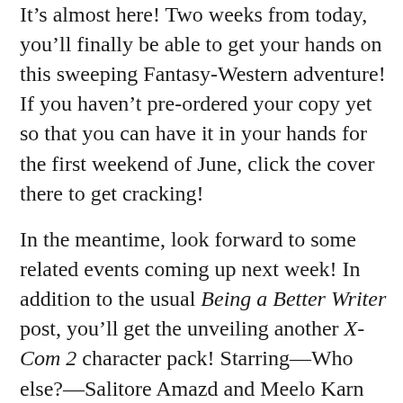It's almost here! Two weeks from today, you'll finally be able to get your hands on this sweeping Fantasy-Western adventure! If you haven't pre-ordered your copy yet so that you can have it in your hands for the first weekend of June, click the cover there to get cracking!
In the meantime, look forward to some related events coming up next week! In addition to the usual Being a Better Writer post, you'll get the unveiling another X-Com 2 character pack! Starring—Who else?—Salitore Amazd and Meelo Karn from Shadow of an Empire. Fun side note, these two were actually the first custom characters I made in X-Com 2. I've had them in my roster for a long time … and now it's your